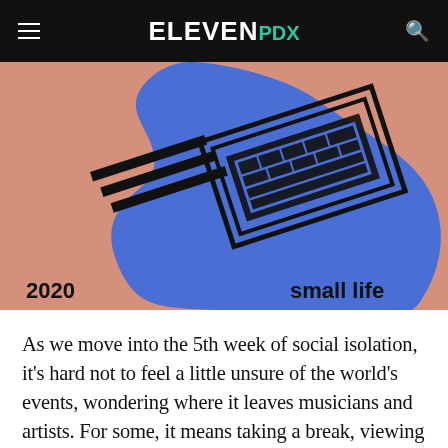ELEVENPDX
[Figure (illustration): Abstract illustration on salmon/peach background with a large blue organic blob shape (resembling a head profile) with a black keyboard graphic overlaid on it. Bottom left reads '2020' and bottom right reads 'small life' in bold black text.]
As we move into the 5th week of social isolation, it's hard not to feel a little unsure of the world's events, wondering where it leaves musicians and artists. For some, it means taking a break, viewing art online, video chats